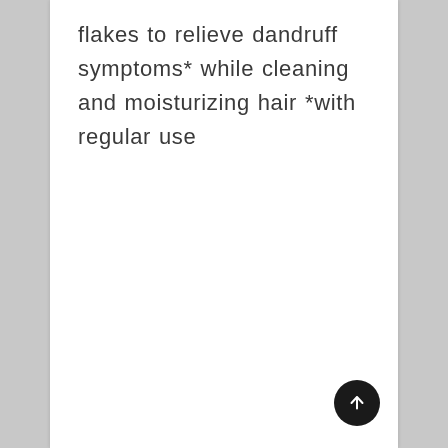flakes to relieve dandruff symptoms* while cleaning and moisturizing hair *with regular use
[Figure (other): Circular dark button with upward arrow icon (scroll-to-top button) positioned at bottom right of page]